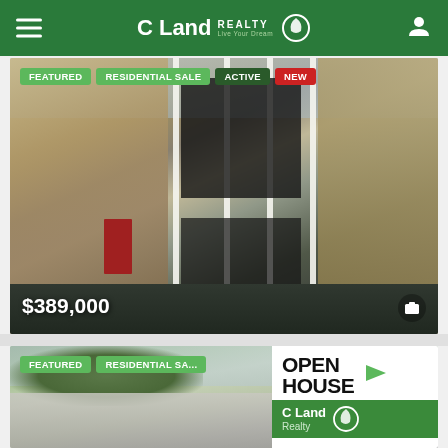C Land REALTY
[Figure (photo): Exterior photo of a brick building with white columns, red door, large windows. Tags: FEATURED, RESIDENTIAL SALE, ACTIVE, NEW. Price: $389,000]
[Figure (photo): Exterior photo of a residential home with trees. Tags: FEATURED, RESIDENTIAL SA... Overlay: OPEN HOUSE with C Land Realty logo]